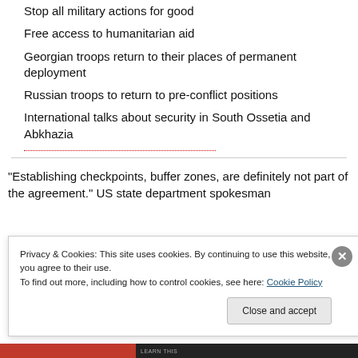Stop all military actions for good
Free access to humanitarian aid
Georgian troops return to their places of permanent deployment
Russian troops to return to pre-conflict positions
International talks about security in South Ossetia and Abkhazia
“Establishing checkpoints, buffer zones, are definitely not part of the agreement.” US state department spokesman
Privacy & Cookies: This site uses cookies. By continuing to use this website, you agree to their use.
To find out more, including how to control cookies, see here: Cookie Policy